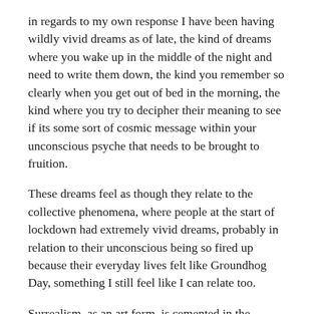in regards to my own response I have been having wildly vivid dreams as of late, the kind of dreams where you wake up in the middle of the night and need to write them down, the kind you remember so clearly when you get out of bed in the morning, the kind where you try to decipher their meaning to see if its some sort of cosmic message within your unconscious psyche that needs to be brought to fruition.
These dreams feel as though they relate to the collective phenomena, where people at the start of lockdown had extremely vivid dreams, probably in relation to their unconscious being so fired up because their everyday lives felt like Groundhog Day, something I still feel like I can relate too.
Surrealism, as an art form, is cemented in the unconscious, with surrealist painters adopting many techniques to unlock the power within their unconscious, so that it translates through to their art, including many being influenced by allusive dreams. With this in mind, and with this week's The Song of love prompt, I have created a landscape of some of the symbols I have recently seen in one dream that has had a lasting effect.